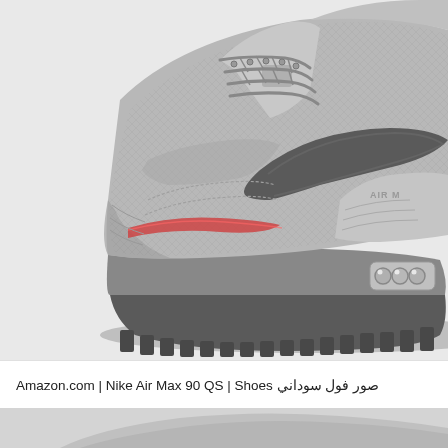[Figure (photo): Nike Air Max 90 QS sneaker in grey colorway with red accent stripe, viewed from the side at an angle. The shoe features grey mesh upper, darker grey Swoosh logo, grey leather panels, grey midsole with visible Air Max cushioning unit, and grey/black chunky lug sole. The heel area shows 'AIR M' text. Background is light grey/white.]
Amazon.com | Nike Air Max 90 QS | Shoes صور فول سوداني
[Figure (photo): Partial view of another Nike Air Max 90 QS sneaker in grey colorway, showing only the top portion at the bottom edge of the page.]